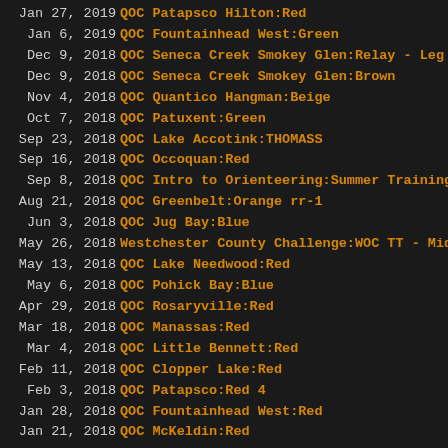Jan 27, 2019 QOC Patapsco Hilton:Red
Jan 6, 2019 QOC Fountainhead West:Green
Dec 9, 2018 QOC Seneca Creek Smokey Glen:Relay - Leg 3
Dec 9, 2018 QOC Seneca Creek Smokey Glen:Brown
Nov 4, 2018 QOC Quantico Hangman:Beige
Oct 7, 2018 QOC Patuxent:Green
Sep 23, 2018 QOC Lake Accotink:THOMASS
Sep 16, 2018 QOC Occoquan:Red
Sep 8, 2018 QOC Intro to Orienteering:Summer Training
Aug 21, 2018 QOC Greenbelt:Orange rr-1
Jun 3, 2018 QOC Jug Bay:Blue
May 26, 2018 Westchester County Challenge:WOC TT - Middle Red
May 13, 2018 QOC Lake Needwood:Red
May 6, 2018 QOC Pohick Bay:Blue
Apr 29, 2018 QOC Rosaryville:Red
Mar 18, 2018 QOC Manassas:Red
Mar 4, 2018 QOC Little Bennett:Red
Feb 11, 2018 QOC Clopper Lake:Red
Feb 3, 2018 QOC Patapsco:Red 4
Jan 28, 2018 QOC Fountainhead West:Red
Jan 21, 2018 QOC McKeldin:Red